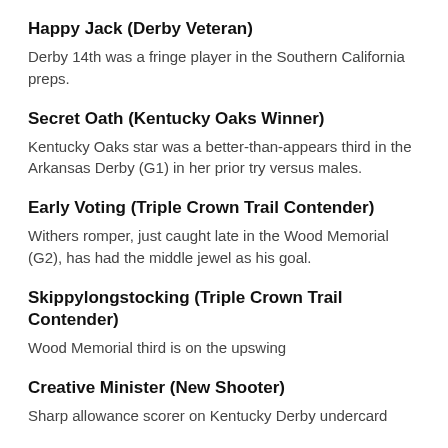Happy Jack (Derby Veteran)
Derby 14th was a fringe player in the Southern California preps.
Secret Oath (Kentucky Oaks Winner)
Kentucky Oaks star was a better-than-appears third in the Arkansas Derby (G1) in her prior try versus males.
Early Voting (Triple Crown Trail Contender)
Withers romper, just caught late in the Wood Memorial (G2), has had the middle jewel as his goal.
Skippylongstocking (Triple Crown Trail Contender)
Wood Memorial third is on the upswing
Creative Minister (New Shooter)
Sharp allowance scorer on Kentucky Derby undercard